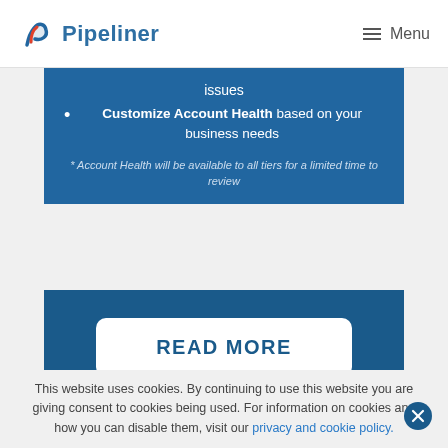Pipeliner | Menu
issues
Customize Account Health based on your business needs
* Account Health will be available to all tiers for a limited time to review
READ MORE
This website uses cookies. By continuing to use this website you are giving consent to cookies being used. For information on cookies and how you can disable them, visit our privacy and cookie policy.